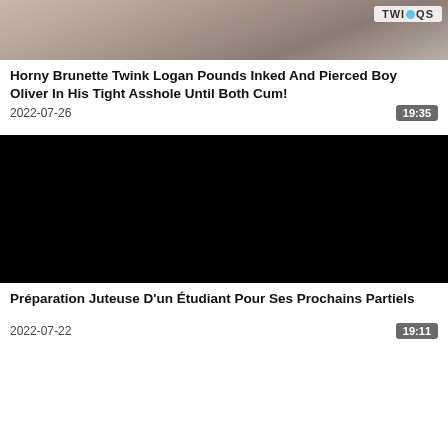[Figure (photo): Video thumbnail showing a bedroom scene with a TWINQS logo badge in the top right corner]
Horny Brunette Twink Logan Pounds Inked And Pierced Boy Oliver In His Tight Asshole Until Both Cum!
2022-07-26   19:35
[Figure (photo): Black video thumbnail (no preview image loaded)]
Préparation Juteuse D'un Étudiant Pour Ses Prochains Partiels
2022-07-22   19:11